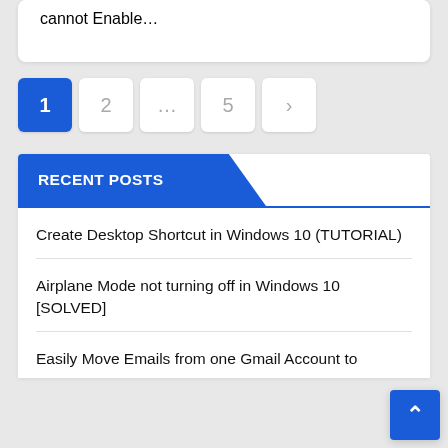cannot Enable…
1
2
…
5
>
RECENT POSTS
Create Desktop Shortcut in Windows 10 (TUTORIAL)
Airplane Mode not turning off in Windows 10 [SOLVED]
Easily Move Emails from one Gmail Account to